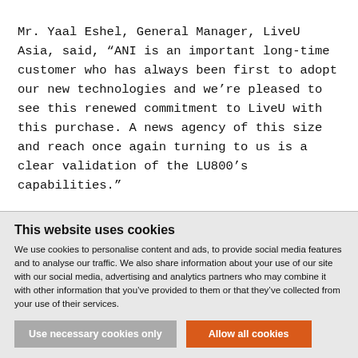Mr. Yaal Eshel, General Manager, LiveU Asia, said, “ANI is an important long-time customer who has always been first to adopt our new technologies and we’re pleased to see this renewed commitment to LiveU with this purchase. A news agency of this size and reach once again turning to us is a clear validation of the LU800’s capabilities.”
This website uses cookies
We use cookies to personalise content and ads, to provide social media features and to analyse our traffic. We also share information about your use of our site with our social media, advertising and analytics partners who may combine it with other information that you’ve provided to them or that they’ve collected from your use of their services.
Use necessary cookies only
Allow all cookies
Show details